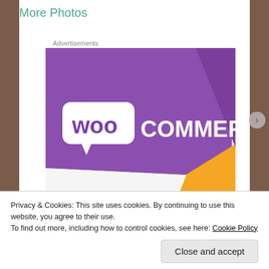More Photos
Advertisements
[Figure (illustration): WooCommerce advertisement image showing purple and orange graphic design with WooCommerce logo and text 'How to']
Privacy & Cookies: This site uses cookies. By continuing to use this website, you agree to their use.
To find out more, including how to control cookies, see here: Cookie Policy
Close and accept